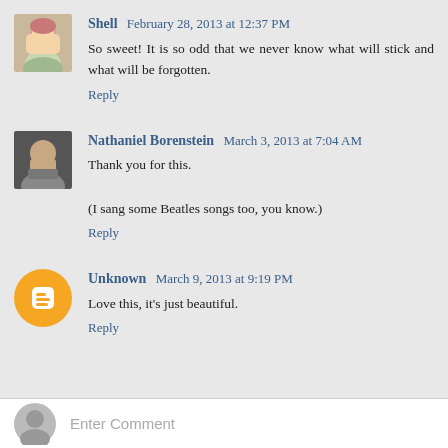Shell  February 28, 2013 at 12:37 PM
So sweet! It is so odd that we never know what will stick and what will be forgotten.
Reply
Nathaniel Borenstein  March 3, 2013 at 7:04 AM
Thank you for this.
(I sang some Beatles songs too, you know.)
Reply
Unknown  March 9, 2013 at 9:19 PM
Love this, it's just beautiful.
Reply
Enter Comment